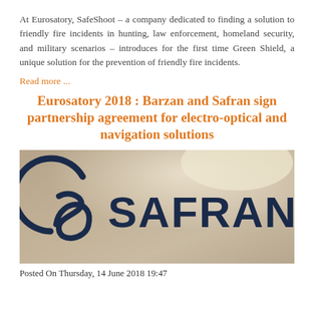At Eurosatory, SafeShoot – a company dedicated to finding a solution to friendly fire incidents in hunting, law enforcement, homeland security, and military scenarios – introduces for the first time Green Shield, a unique solution for the prevention of friendly fire incidents.
Read more ...
Eurosatory 2018 : Barzan and Safran sign partnership agreement for electro-optical and navigation solutions
[Figure (photo): Safran company logo sign on a wall with lighting – dark navy 'SAFRAN' text with the Safran S-logo mark to the left]
Posted On Thursday, 14 June 2018 19:47